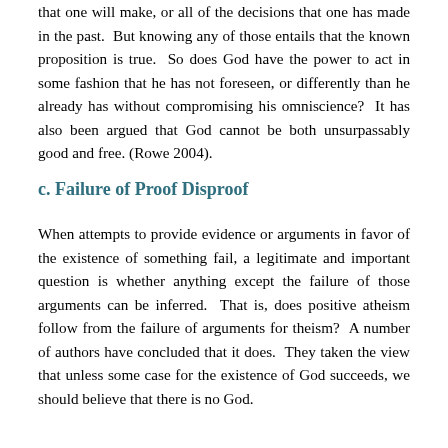that one will make, or all of the decisions that one has made in the past.  But knowing any of those entails that the known proposition is true.  So does God have the power to act in some fashion that he has not foreseen, or differently than he already has without compromising his omniscience?  It has also been argued that God cannot be both unsurpassably good and free. (Rowe 2004).
c. Failure of Proof Disproof
When attempts to provide evidence or arguments in favor of the existence of something fail, a legitimate and important question is whether anything except the failure of those arguments can be inferred.  That is, does positive atheism follow from the failure of arguments for theism?  A number of authors have concluded that it does.  They taken the view that unless some case for the existence of God succeeds, we should believe that there is no God.